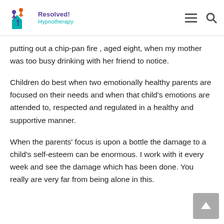Resolved! Hypnotherapy
putting out a chip-pan fire , aged eight, when my mother was too busy drinking with her friend to notice.
Children do best when two emotionally healthy parents are focused on their needs and when that child's emotions are attended to, respected and regulated in a healthy and supportive manner.
When the parents' focus is upon a bottle the damage to a child's self-esteem can be enormous. I work with it every week and see the damage which has been done. You really are very far from being alone in this.